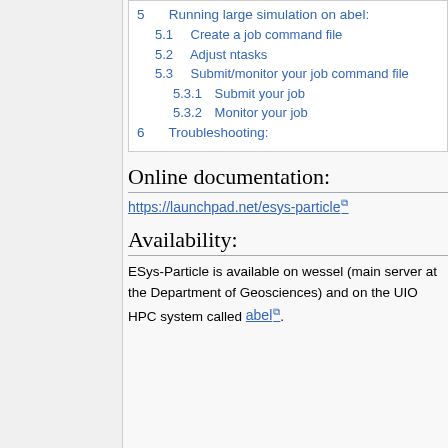5  Running large simulation on abel:
5.1  Create a job command file
5.2  Adjust ntasks
5.3  Submit/monitor your job command file
5.3.1  Submit your job
5.3.2  Monitor your job
6  Troubleshooting:
Online documentation:
https://launchpad.net/esys-particle
Availability:
ESys-Particle is available on wessel (main server at the Department of Geosciences) and on the UIO HPC system called abel.